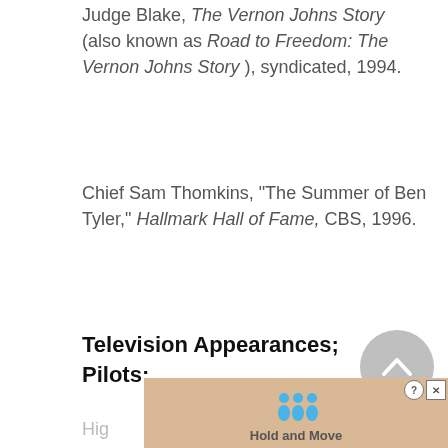Judge Blake, The Vernon Johns Story (also known as Road to Freedom: The Vernon Johns Story ), syndicated, 1994.
Chief Sam Thomkins, "The Summer of Ben Tyler," Hallmark Hall of Fame, CBS, 1996.
Television Appearances; Pilots:
Hig